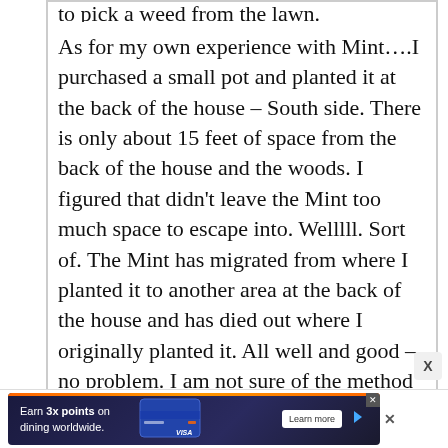to pick a weed from the lawn.
As for my own experience with Mint….I purchased a small pot and planted it at the back of the house – South side. There is only about 15 feet of space from the back of the house and the woods. I figured that didn't leave the Mint too much space to escape into. Welllll. Sort of. The Mint has migrated from where I planted it to another area at the back of the house and has died out where I originally planted it. All well and good – no problem. I am not sure of the method of further expansion to East of the house. There is an area that I used as a holding area for potted plants before they
[Figure (other): Advertisement banner for a credit card: 'Earn 3x points on dining worldwide.' with a dark blue background, a credit card image (Visa), a 'Learn more' button, and navigation/close controls.]